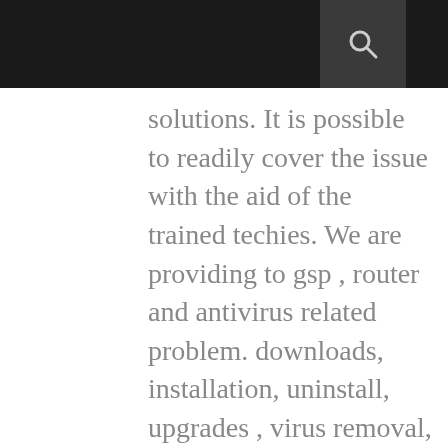solutions. It is possible to readily cover the issue with the aid of the trained techies. We are providing to gsp , router and antivirus related problem. downloads, installation, uninstall, upgrades , virus removal, etc need more information so click here. bitdefender support | Canon Printer Offline | amazon.com/code | Cash App Login | Paypal Login | Linksys Extender Setup | Roadrunner Email |